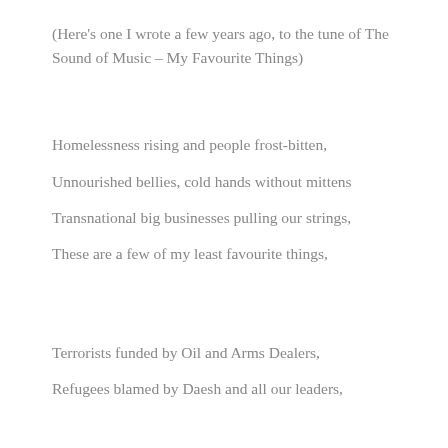(Here's one I wrote a few years ago, to the tune of The Sound of Music – My Favourite Things)
Homelessness rising and people frost-bitten,
Unnourished bellies, cold hands without mittens
Transnational big businesses pulling our strings,
These are a few of my least favourite things,
Terrorists funded by Oil and Arms Dealers,
Refugees blamed by Daesh and all our leaders,